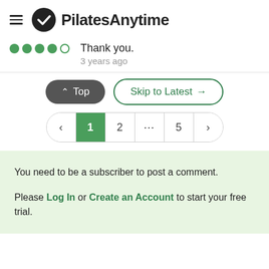PilatesAnytime
Thank you.
3 years ago
^ Top   Skip to Latest →
< 1 2 ... 5 >
You need to be a subscriber to post a comment.

Please Log In or Create an Account to start your free trial.